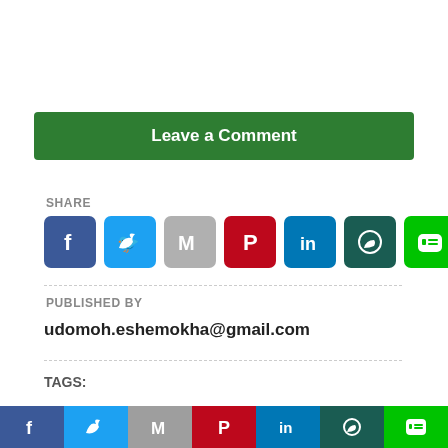Leave a Comment
SHARE
[Figure (infographic): Row of social media share icons: Facebook, Twitter, Gmail, Pinterest, LinkedIn, WhatsApp, LINE]
PUBLISHED BY
udomoh.eshemokha@gmail.com
TAGS:
[Figure (infographic): Bottom sticky bar with social media icons: Facebook, Twitter, Gmail, Pinterest, LinkedIn, WhatsApp, LINE]